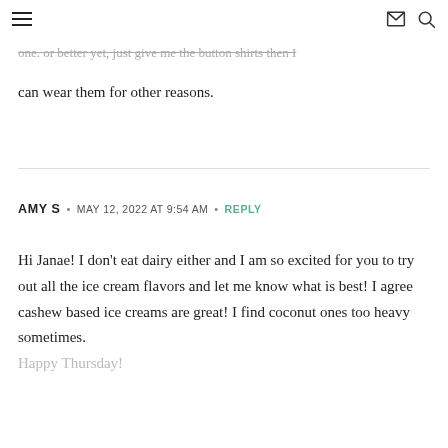≡ (hamburger menu) | (mail icon) (search icon)
…one. Or better yet, just give me the button shirts then I can wear them for other reasons.
AMY S • MAY 12, 2022 AT 9:54 AM • REPLY
Hi Janae! I don't eat dairy either and I am so excited for you to try out all the ice cream flavors and let me know what is best! I agree cashew based ice creams are great! I find coconut ones too heavy sometimes. Happy Thursday!